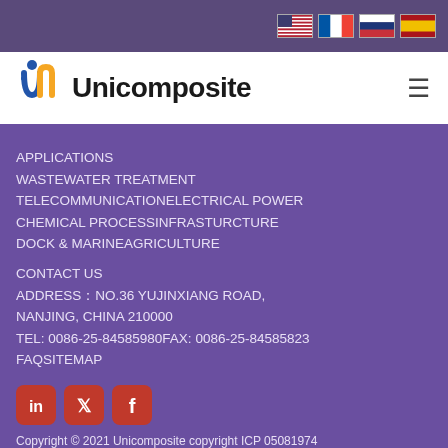[Figure (logo): Unicomposite logo with stylized 'U' and 'n' letters in blue and orange, followed by bold text 'Unicomposite']
APPLICATIONS
WASTEWATER TREATMENT
TELECOMMUNICATIONELECTRICAL POWER
CHEMICAL PROCESSINFRASTURCTURE
DOCK & MARINEAGRICULTURE
CONTACT US
ADDRESS：NO.36 YUJINXIANG ROAD, NANJING, CHINA 210000
TEL: 0086-25-84585980FAX: 0086-25-84585823
FAQSITEMAP
Copyright © 2021 Unicomposite copyright ICP 05081974